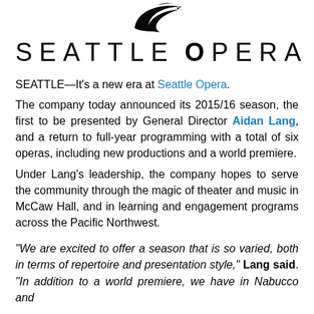[Figure (logo): Seattle Opera logo — a stylized black swoosh/bird shape above the wordmark SEATTLE OPERA in spaced uppercase letters]
SEATTLE—It's a new era at Seattle Opera. The company today announced its 2015/16 season, the first to be presented by General Director Aidan Lang, and a return to full-year programming with a total of six operas, including new productions and a world premiere. Under Lang's leadership, the company hopes to serve the community through the magic of theater and music in McCaw Hall, and in learning and engagement programs across the Pacific Northwest.
“We are excited to offer a season that is so varied, both in terms of repertoire and presentation style,” Lang said. “In addition to a world premiere, we have in Nabucco and